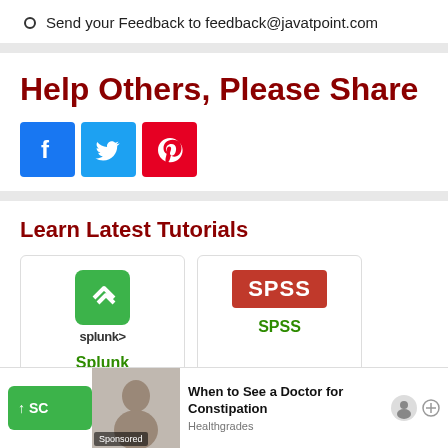Send your Feedback to feedback@javatpoint.com
Help Others, Please Share
[Figure (infographic): Social share buttons: Facebook (blue), Twitter (cyan), Pinterest (red)]
Learn Latest Tutorials
[Figure (logo): Splunk tutorial card with green Splunk logo and label]
[Figure (logo): SPSS tutorial card with red SPSS logo and label]
[Figure (infographic): Advertisement bar: When to See a Doctor for Constipation - Healthgrades]